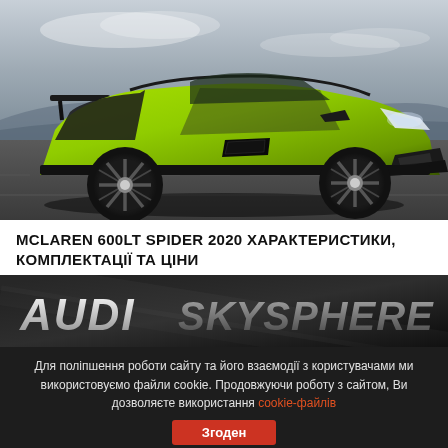[Figure (photo): Lime green McLaren 600LT Spider 2020 convertible sports car on a race track, photographed from front-left angle. The car features distinctive sharp aerodynamic body lines, black wheels, and an open top.]
MCLAREN 600LT SPIDER 2020 ХАРАКТЕРИСТИКИ, КОМПЛЕКТАЦІЇ ТА ЦІНИ
[Figure (illustration): Audi Skysphere concept text logo on dark background with metallic stylized lettering]
Для поліпшення роботи сайту та його взаємодії з користувачами ми використовуємо файли cookie. Продовжуючи роботу з сайтом, Ви дозволяєте використання cookie-файлів
Згоден